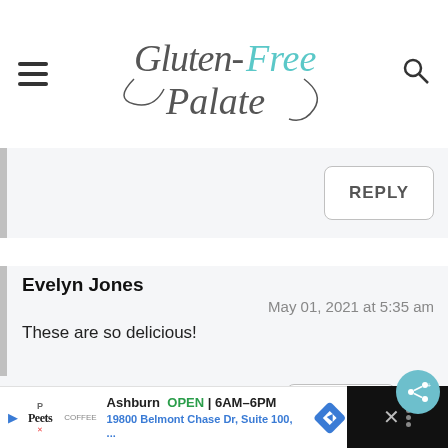Gluten-Free Palate
REPLY
Evelyn Jones
May 01, 2021 at 5:35 am
These are so delicious!
REPLY
Ashburn OPEN | 6AM–6PM 19800 Belmont Chase Dr, Suite 100, ...